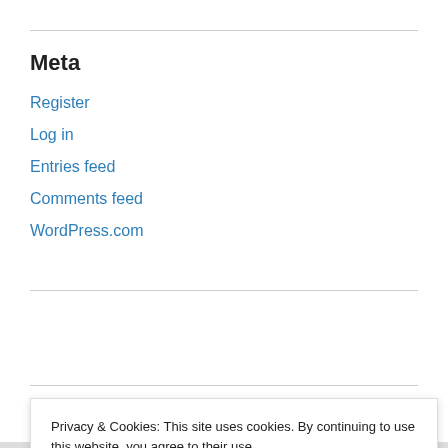Meta
Register
Log in
Entries feed
Comments feed
WordPress.com
Follow Blog via Email
Privacy & Cookies: This site uses cookies. By continuing to use this website, you agree to their use.
To find out more, including how to control cookies, see here: Cookie Policy
Close and accept